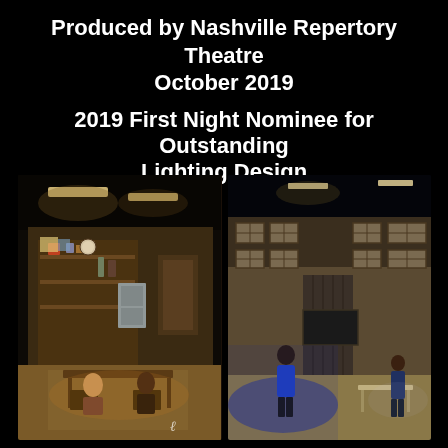Produced by Nashville Repertory Theatre October 2019
2019 First Night Nominee for Outstanding Lighting Design
[Figure (photo): Two side-by-side theatre production photos from Nashville Repertory Theatre. Left photo: An intimate interior set lit warmly, showing two actors seated at a table in a detailed kitchen/office set. Right photo: A large school gymnasium or hallway set with high windows, two actors standing far apart in dramatic blue and white lighting.]